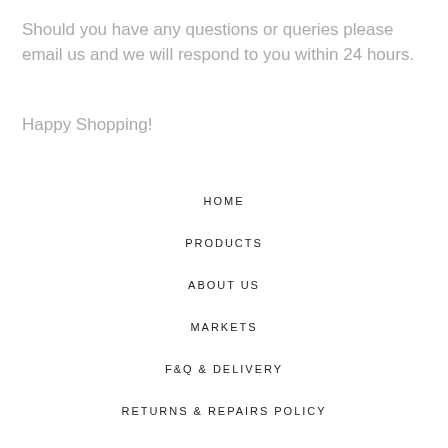Should you have any questions or queries please email us and we will respond to you within 24 hours.
Happy Shopping!
HOME
PRODUCTS
ABOUT US
MARKETS
F&Q & DELIVERY
RETURNS & REPAIRS POLICY
CARE INSTRUCTIONS
WEDDINGS